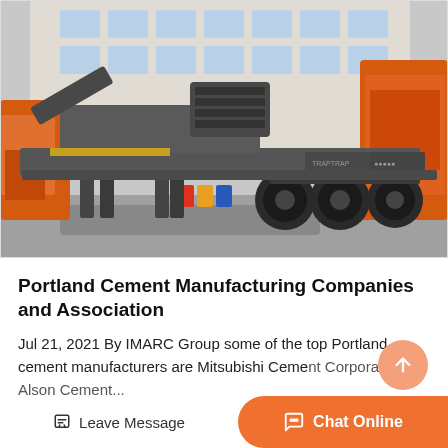[Figure (photo): Large mobile crushing/screening machine mounted on a truck trailer, painted grey and orange, parked in an industrial yard. Multiple similar orange machines are visible in the background along with a white industrial building.]
Portland Cement Manufacturing Companies and Association
Jul 21, 2021 By IMARC Group some of the top Portland cement manufacturers are Mitsubishi Ceme...
Leave Message   Chat Online